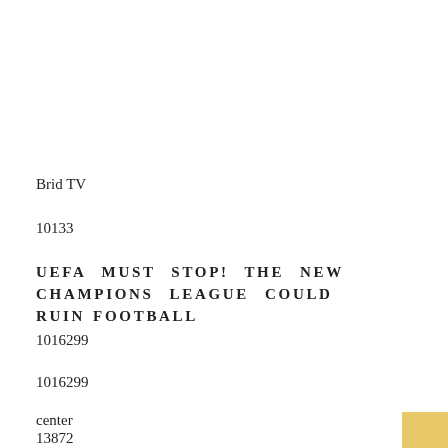Brid TV
10133
UEFA MUST STOP! THE NEW CHAMPIONS LEAGUE COULD RUIN FOOTBALL
1016299
1016299
center
13872